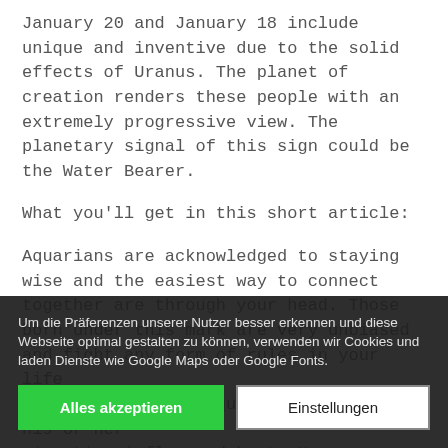January 20 and January 18 include unique and inventive due to the solid effects of Uranus. The planet of creation renders these people with an extremely progressive view. The planetary signal of this sign could be the Water Bearer.
What you'll get in this short article:
Aquarians are acknowledged to staying wise and the easiest way to connect together are through your head. Those born under this mark are very unbiased and fight any form of rules in your life and romance. These quiet rebels bring his or her nice time influenced by to Uranus, one of the many associated with an eccentric personality and Greenlights till the be...
Pisces may 12th and last astrology sign. Pisces was
Um die Präferenzen unserer Nutzer besser erkennen und diese Webseite optimal gestalten zu können, verwenden wir Cookies und laden Dienste wie Google Maps oder Google Fonts.
Alles akzeptieren
Einstellungen